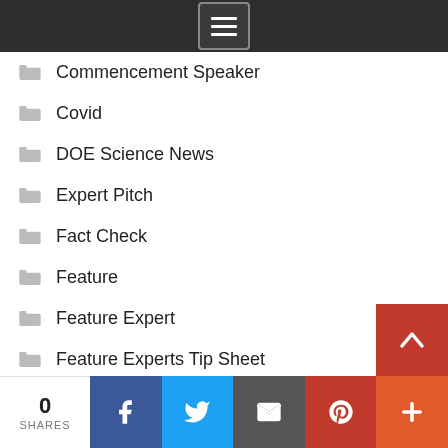[Figure (screenshot): Dark top navigation bar with hamburger menu icon (three horizontal lines in a bordered box)]
Commencement Speaker
Covid
DOE Science News
Expert Pitch
Fact Check
Feature
Feature Expert
Feature Experts Tip Sheet
Feature Tip Sheet
Grant
Higher Education Event
Marketplace
0 SHARES | Facebook | Twitter | Email | Pinterest | More